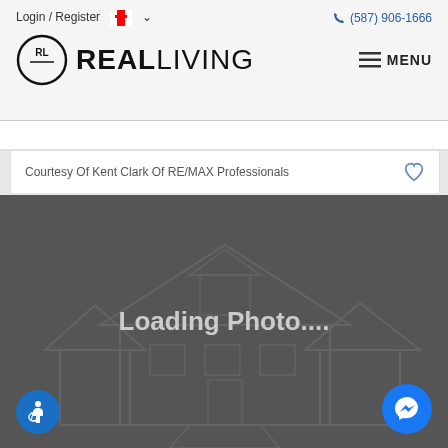Login / Register  (587) 906-1666
[Figure (logo): Real Living logo with RL circle emblem and REALLIVING wordmark]
Courtesy Of Kent Clark Of RE/MAX Professionals
[Figure (photo): Loading Photo... placeholder with house outline illustration on dark grey background]